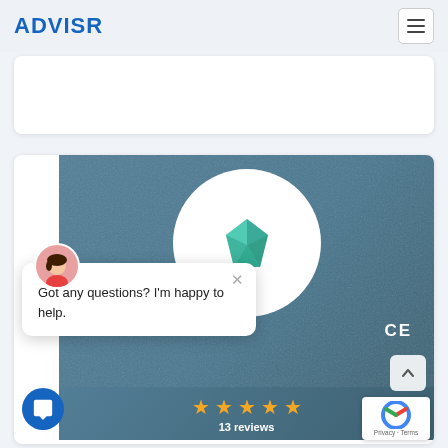ADVISR
[Figure (screenshot): Website screenshot showing ADVISR logo header with hamburger menu, a white card area, and a blue-gray background card with a white circle containing a green gem-shaped logo, a chat popup saying 'Got any questions? I'm happy to help.', five gold stars, '13 reviews', a blue chat button, scroll-up arrow, and reCAPTCHA badge.]
Got any questions? I'm happy to help.
13 reviews